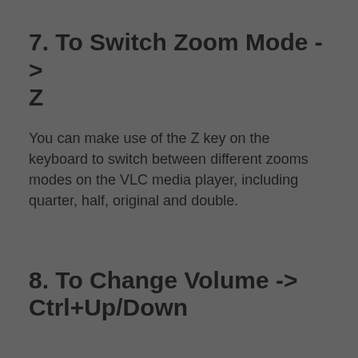7. To Switch Zoom Mode -> Z
You can make use of the Z key on the keyboard to switch between different zooms modes on the VLC media player, including quarter, half, original and double.
8. To Change Volume -> Ctrl+Up/Down